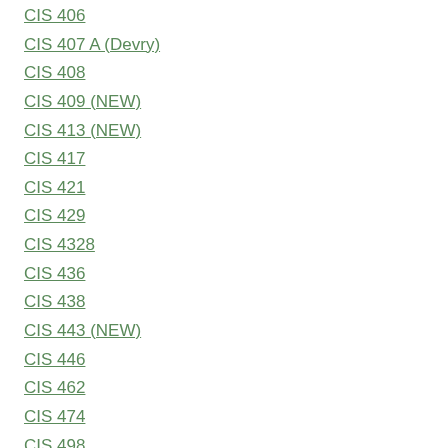CIS 406
CIS 407 A (Devry)
CIS 408
CIS 409 (NEW)
CIS 413 (NEW)
CIS 417
CIS 421
CIS 429
CIS 4328
CIS 436
CIS 438
CIS 443 (NEW)
CIS 446
CIS 462
CIS 474
CIS 498
CIS 499
CIS 500
CIS 500 (Stayer)